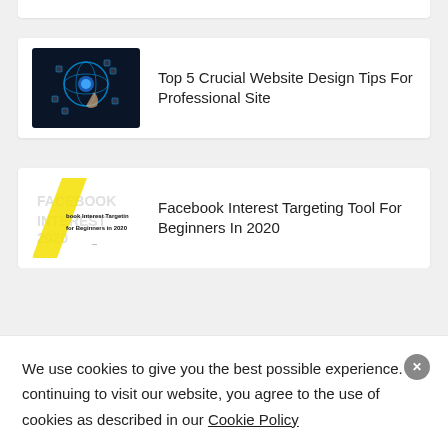[Figure (screenshot): Partial top of a card, cut off at top of page]
[Figure (photo): Dark blue tech image with glowing globe/hand and icons]
Top 5 Crucial Website Design Tips For Professional Site
[Figure (screenshot): Facebook Interest Targeting Tool thumbnail with yellow diagonal stripe and text]
Facebook Interest Targeting Tool For Beginners In 2020
We use cookies to give you the best possible experience. By continuing to visit our website, you agree to the use of cookies as described in our Cookie Policy